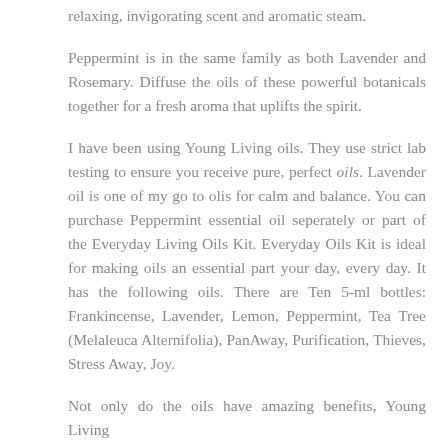relaxing, invigorating scent and aromatic steam.
Peppermint is in the same family as both Lavender and Rosemary. Diffuse the oils of these powerful botanicals together for a fresh aroma that uplifts the spirit.
I have been using Young Living oils. They use strict lab testing to ensure you receive pure, perfect oils. Lavender oil is one of my go to olis for calm and balance. You can purchase Peppermint essential oil seperately or part of the Everyday Living Oils Kit. Everyday Oils Kit is ideal for making oils an essential part your day, every day. It has the following oils. There are Ten 5-ml bottles: Frankincense, Lavender, Lemon, Peppermint, Tea Tree (Melaleuca Alternifolia), PanAway, Purification, Thieves, Stress Away, Joy.
Not only do the oils have amazing benefits, Young Living